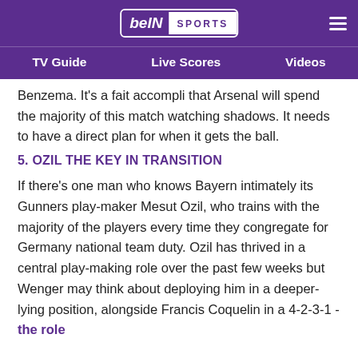beIN SPORTS
TV Guide | Live Scores | Videos
Benzema. It's a fait accompli that Arsenal will spend the majority of this match watching shadows. It needs to have a direct plan for when it gets the ball.
5. OZIL THE KEY IN TRANSITION
If there's one man who knows Bayern intimately its Gunners play-maker Mesut Ozil, who trains with the majority of the players every time they congregate for Germany national team duty. Ozil has thrived in a central play-making role over the past few weeks but Wenger may think about deploying him in a deeper-lying position, alongside Francis Coquelin in a 4-2-3-1 - the role